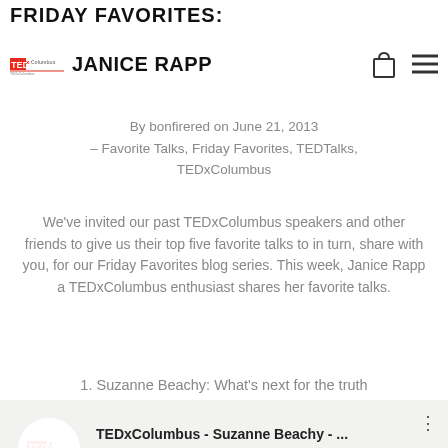FRIDAY FAVORITES:
JANICE RAPP
By bonfirered on June 21, 2013 – Favorite Talks, Friday Favorites, TEDTalks, TEDxColumbus
We've invited our past TEDxColumbus speakers and other friends to give us their top five favorite talks to in turn, share with you, for our Friday Favorites blog series. This week, Janice Rapp a TEDxColumbus enthusiast shares her favorite talks.
1. Suzanne Beachy: What's next for the truth
[Figure (screenshot): Embedded YouTube video thumbnail showing TEDxColumbus talk by Suzanne Beachy with group of African women smiling, TEDx logo in top left, video title bar reading 'TEDxColumbus - Suzanne Beachy - ...' and a play button in the center]